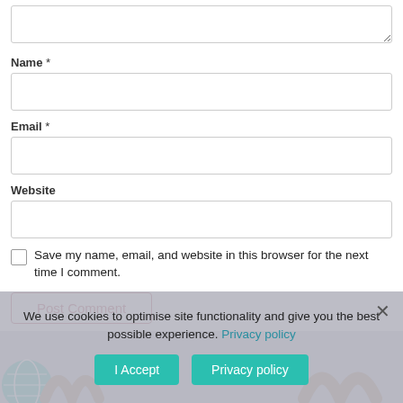[Figure (screenshot): Textarea input box (partially visible at top of page, resizable)]
Name *
[Figure (screenshot): Name input text field]
Email *
[Figure (screenshot): Email input text field]
Website
[Figure (screenshot): Website input text field]
Save my name, email, and website in this browser for the next time I comment.
[Figure (screenshot): Post Comment button (partially obscured by cookie banner)]
We use cookies to optimise site functionality and give you the best possible experience. Privacy policy
[Figure (screenshot): I Accept and Privacy policy buttons in teal/green color]